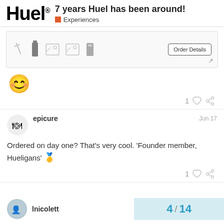Huel® 7 years Huel has been around! Experiences
[Figure (screenshot): Screenshot of a Huel order page showing product icons and an Order Details button]
[Figure (illustration): Blushing smiley face emoji 😊]
1 ♡ 🔗
epicure  Jun 17
Ordered on day one? That's very cool. 'Founder member, Hueligans' 🥇
1 ♡ 🔗
lnicolett
4 / 14